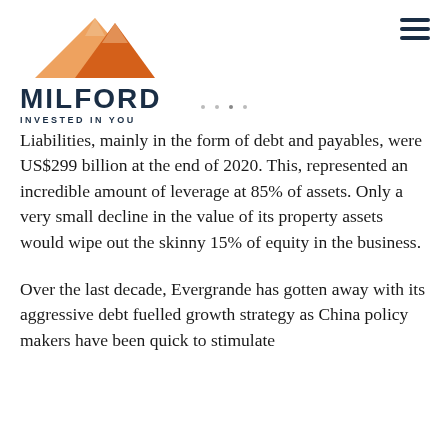[Figure (logo): Milford Asset Management logo: orange mountain graphic above the word MILFORD in dark navy bold capitals, with 'INVESTED IN YOU' in smaller spaced letters below]
Liabilities, mainly in the form of debt and payables, were US$299 billion at the end of 2020. This, represented an incredible amount of leverage at 85% of assets. Only a very small decline in the value of its property assets would wipe out the skinny 15% of equity in the business.
Over the last decade, Evergrande has gotten away with its aggressive debt fuelled growth strategy as China policy makers have been quick to stimulate